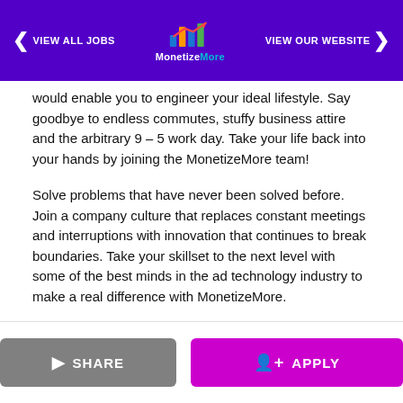VIEW ALL JOBS | MonetizeMore | VIEW OUR WEBSITE
would enable you to engineer your ideal lifestyle. Say goodbye to endless commutes, stuffy business attire and the arbitrary 9 – 5 work day. Take your life back into your hands by joining the MonetizeMore team!
Solve problems that have never been solved before. Join a company culture that replaces constant meetings and interruptions with innovation that continues to break boundaries. Take your skillset to the next level with some of the best minds in the ad technology industry to make a real difference with MonetizeMore.
Responsibilities
The day-to-day work of a MonetizeMore senior web developer includes:
SHARE  APPLY